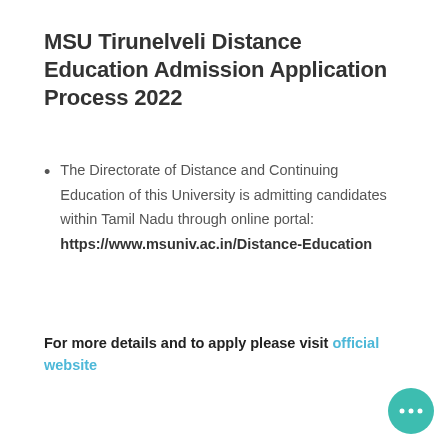MSU Tirunelveli Distance Education Admission Application Process 2022
The Directorate of Distance and Continuing Education of this University is admitting candidates within Tamil Nadu through online portal: https://www.msuniv.ac.in/Distance-Education
For more details and to apply please visit official website